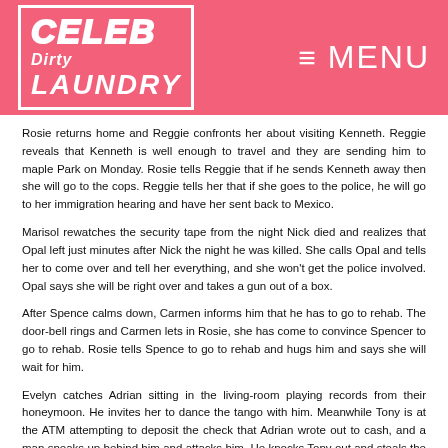CELEB Dirty LAUNDRY — MENU
Rosie returns home and Reggie confronts her about visiting Kenneth. Reggie reveals that Kenneth is well enough to travel and they are sending him to maple Park on Monday. Rosie tells Reggie that if he sends Kenneth away then she will go to the cops. Reggie tells her that if she goes to the police, he will go to her immigration hearing and have her sent back to Mexico.
Marisol rewatches the security tape from the night Nick died and realizes that Opal left just minutes after Nick the night he was killed. She calls Opal and tells her to come over and tell her everything, and she won't get the police involved. Opal says she will be right over and takes a gun out of a box.
After Spence calms down, Carmen informs him that he has to go to rehab. The door-bell rings and Carmen lets in Rosie, she has come to convince Spencer to go to rehab. Rosie tells Spence to go to rehab and hugs him and says she will wait for him.
Evelyn catches Adrian sitting in the living-room playing records from their honeymoon. He invites her to dance the tango with him. Meanwhile Tony is at the ATM attempting to deposit the check that Adrian wrote out to cash, and a man sneaks up behind him and attacks him. He knocks Tony out and steals the check.
Opal arrives at Marisol's, and Marisol demands she tells her who Nick killed. Opal pulls a gun on Marisol and Ethan walks in. He yells at his mom